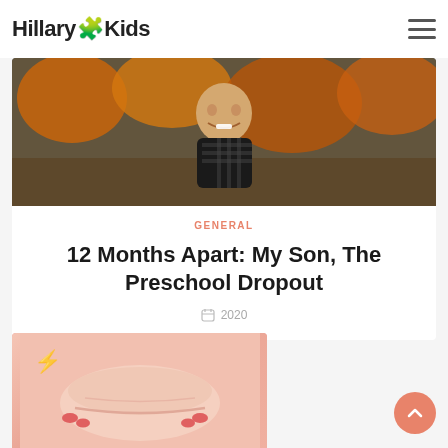Hillary Kids
[Figure (photo): Photo of a smiling toddler boy in a plaid shirt outdoors with autumn foliage in background]
GENERAL
12 Months Apart: My Son, The Preschool Dropout
2020
[Figure (photo): Photo with pink background showing a baby belly or folds of skin, with a lightning bolt icon overlay]